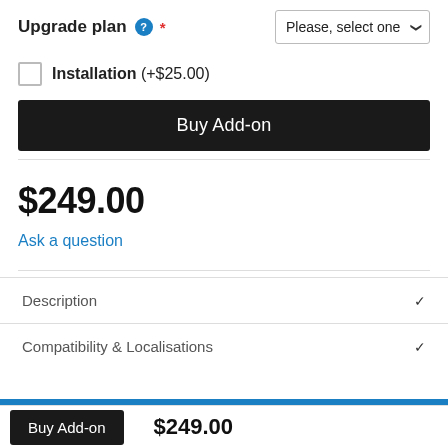Upgrade plan * Please, select one
Installation (+$25.00)
Buy Add-on
$249.00
Ask a question
Description
Compatibility & Localisations
Buy Add-on
$249.00